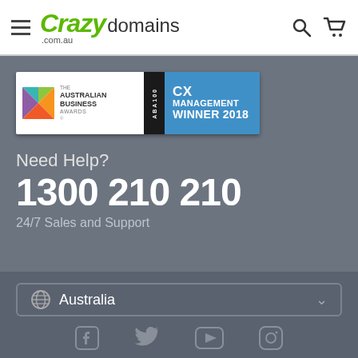Crazy domains .com.au
[Figure (logo): The Australian Business Awards ABA100 CX Management Winner 2018 badge]
Need Help?
1300 210 210
24/7 Sales and Support
Australia
[Figure (illustration): Social media icons: Facebook, Twitter, YouTube, Instagram]